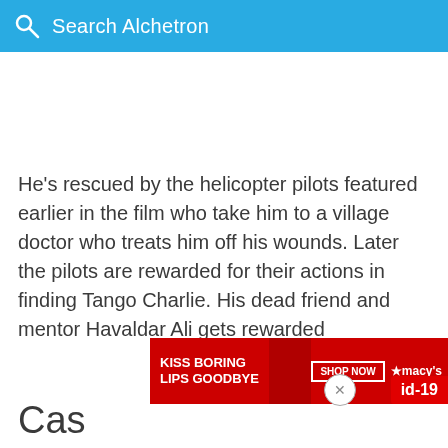Search Alchetron
He's rescued by the helicopter pilots featured earlier in the film who take him to a village doctor who treats him off his wounds. Later the pilots are rewarded for their actions in finding Tango Charlie. His dead friend and mentor Havaldar Ali gets rewarded
[Figure (other): Advertisement banner: KISS BORING LIPS GOODBYE with woman's face and SHOP NOW macy's button]
Cas